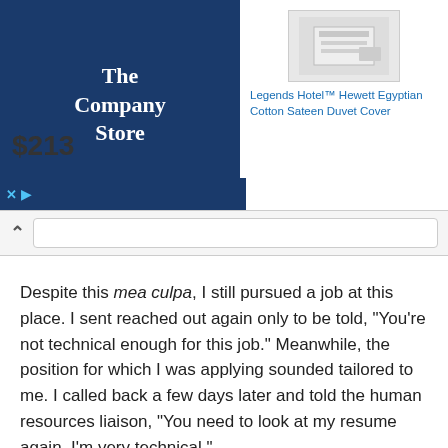[Figure (screenshot): Advertisement banner for 'The Company Store' showing product 'Legends Hotel™ Hewett Egyptian Cotton Sateen Duvet Cover' priced at $213, with blue logo on the left and product image on the right.]
Despite this mea culpa, I still pursued a job at this place. I sent reached out again only to be told, "You're not technical enough for this job." Meanwhile, the position for which I was applying sounded tailored to me. I called back a few days later and told the human resources liaison, "You need to look at my resume again. I'm very technical."
Surprisingly, she called me back to say that someone else looked at my resume and that he'd give me a phone interview in a few days. That got cancelled only to be rescheduled as an in-person with that guy along with a few members of his team.
Even after all that, I didn't get the job. Though the human resources person told me that she thought the guy who